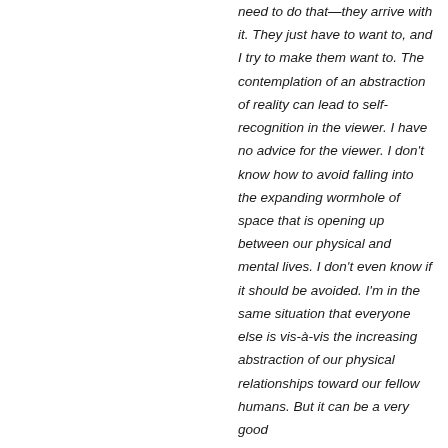need to do that—they arrive with it. They just have to want to, and I try to make them want to. The contemplation of an abstraction of reality can lead to self-recognition in the viewer. I have no advice for the viewer. I don't know how to avoid falling into the expanding wormhole of space that is opening up between our physical and mental lives. I don't even know if it should be avoided. I'm in the same situation that everyone else is vis-à-vis the increasing abstraction of our physical relationships toward our fellow humans. But it can be a very good